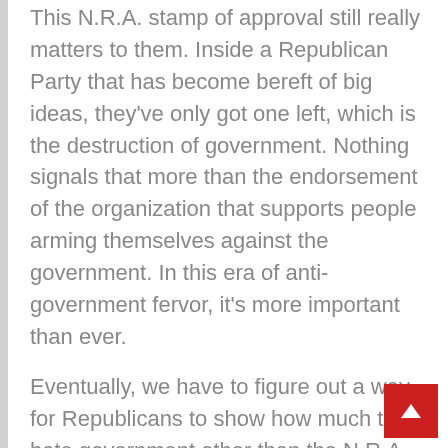This N.R.A. stamp of approval still really matters to them. Inside a Republican Party that has become bereft of big ideas, they've only got one left, which is the destruction of government. Nothing signals that more than the endorsement of the organization that supports people arming themselves against the government. In this era of anti-government fervor, it's more important than ever.
Eventually, we have to figure out a way for Republicans to show how much they hate government other than the N.R.A. endorsement. Maybe I should be rooting for the Club for Growth to be a more effective voice within the Republican Party.